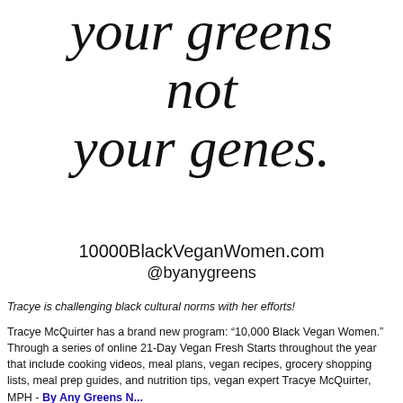your greens not your genes.
10000BlackVeganWomen.com
@byanygreens
Tracye is challenging black cultural norms with her efforts!
Tracye McQuirter has a brand new program: “10,000 Black Vegan Women.” Through a series of online 21-Day Vegan Fresh Starts throughout the year that include cooking videos, meal plans, vegan recipes, grocery shopping lists, meal prep guides, and nutrition tips, vegan expert Tracye McQuirter, MPH - By Any Greens Necessary...